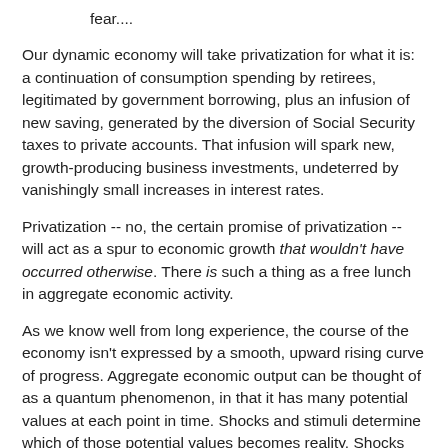fear....
Our dynamic economy will take privatization for what it is: a continuation of consumption spending by retirees, legitimated by government borrowing, plus an infusion of new saving, generated by the diversion of Social Security taxes to private accounts. That infusion will spark new, growth-producing business investments, undeterred by vanishingly small increases in interest rates.
Privatization -- no, the certain promise of privatization -- will act as a spur to economic growth that wouldn't have occurred otherwise. There is such a thing as a free lunch in aggregate economic activity.
As we know well from long experience, the course of the economy isn't expressed by a smooth, upward rising curve of progress. Aggregate economic output can be thought of as a quantum phenomenon, in that it has many potential values at each point in time. Shocks and stimuli determine which of those potential values becomes reality. Shocks (e.g., the collapse of the American stock market in 1929) can lead to sharp and prolonged downturns that can be reversed only by